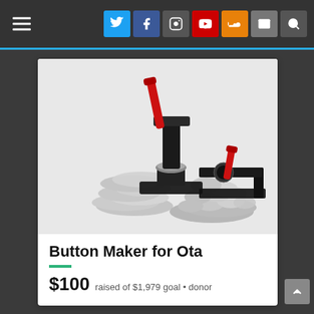Navigation bar with hamburger menu and social icons (Twitter, Facebook, Instagram, YouTube, SoundCloud, Email, Search)
[Figure (photo): Button maker machine with red handle, circular die press on black base, alongside a metal circle cutter tool and piles of button blanks (silver discs)]
Button Maker for Ota
$100 raised of $1,979 goal • donor